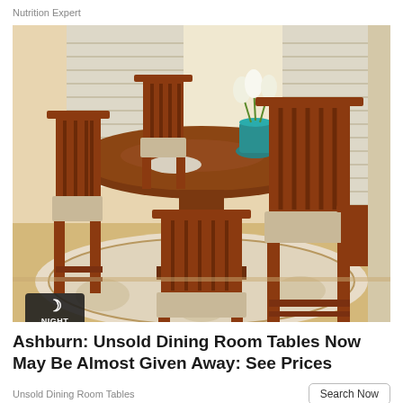Nutrition Expert
[Figure (photo): A wooden dining room set with a round pedestal table and four Mission-style chairs with upholstered seats, placed on a floral area rug near windows with blinds. A teal vase with white flowers sits on the table.]
Ashburn: Unsold Dining Room Tables Now May Be Almost Given Away: See Prices
Unsold Dining Room Tables
Search Now